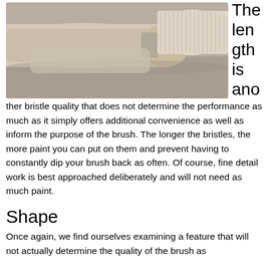[Figure (photo): Close-up photograph of paint brushes with light-colored bristles resting on a surface, viewed from above.]
The length is another bristle quality that does not determine the performance as much as it simply offers additional convenience as well as inform the purpose of the brush. The longer the bristles, the more paint you can put on them and prevent having to constantly dip your brush back as often. Of course, fine detail work is best approached deliberately and will not need as much paint.
Shape
Once again, we find ourselves examining a feature that will not actually determine the quality of the brush as